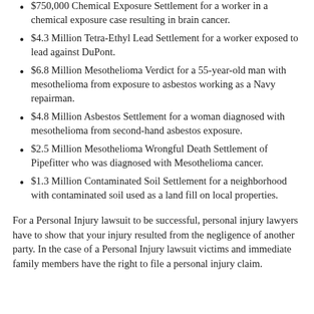$750,000 Chemical Exposure Settlement for a worker in a chemical exposure case resulting in brain cancer.
$4.3 Million Tetra-Ethyl Lead Settlement for a worker exposed to lead against DuPont.
$6.8 Million Mesothelioma Verdict for a 55-year-old man with mesothelioma from exposure to asbestos working as a Navy repairman.
$4.8 Million Asbestos Settlement for a woman diagnosed with mesothelioma from second-hand asbestos exposure.
$2.5 Million Mesothelioma Wrongful Death Settlement of Pipefitter who was diagnosed with Mesothelioma cancer.
$1.3 Million Contaminated Soil Settlement for a neighborhood with contaminated soil used as a land fill on local properties.
For a Personal Injury lawsuit to be successful, personal injury lawyers have to show that your injury resulted from the negligence of another party. In the case of a Personal Injury lawsuit victims and immediate family members have the right to file a personal injury claim.